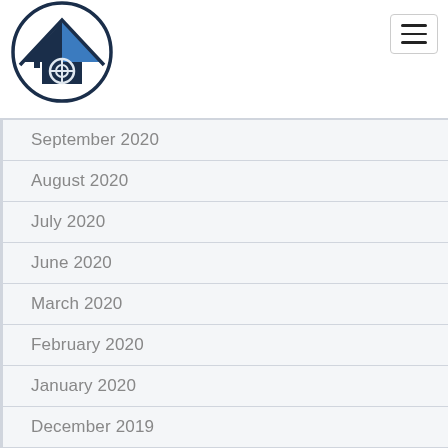[Figure (logo): House/roof with eye symbol inside a circle - real estate or property inspection logo in dark navy and blue]
September 2020
August 2020
July 2020
June 2020
March 2020
February 2020
January 2020
December 2019